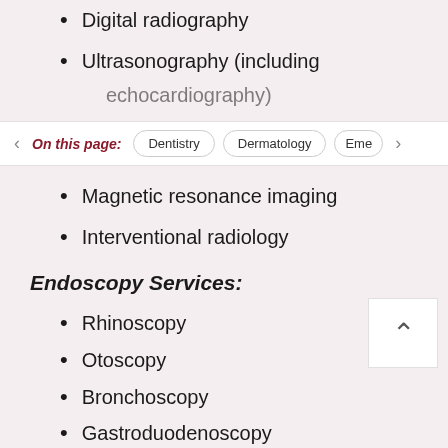Digital radiography
Ultrasonography (including echocardiography)
On this page: | Dentistry | Dermatology | Eme...
Magnetic resonance imaging
Interventional radiology
Endoscopy Services:
Rhinoscopy
Otoscopy
Bronchoscopy
Gastroduodenoscopy
Colonoscopy
Urethrocystoscopy
Endoscopic biopsies